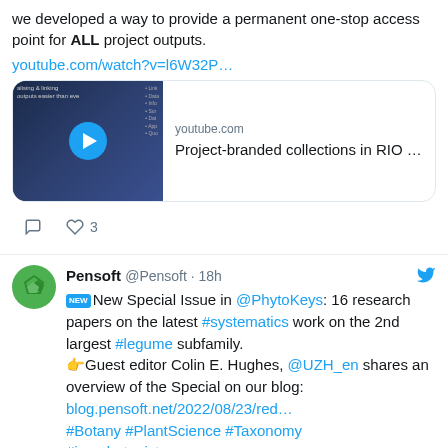we developed a way to provide a permanent one-stop access point for ALL project outputs.
youtube.com/watch?v=l6W32P…
[Figure (screenshot): YouTube video card thumbnail showing 'Project-branded collections in RIO ...' with a play button and youtube.com domain label]
comment icon, heart icon with 3 likes
Pensoft @Pensoft · 18h
[NEW] New Special Issue in @PhytoKeys: 16 research papers on the latest #systematics work on the 2nd largest #legume subfamily.
👉Guest editor Colin E. Hughes, @UZH_en shares an overview of the Special on our blog:
blog.pensoft.net/2022/08/23/red…
#Botany #PlantScience #Taxonomy
#iamabotanist